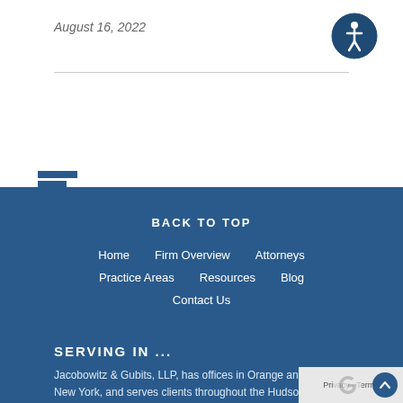August 16, 2022
[Figure (illustration): Accessibility icon — circle with person figure outline on dark blue background]
BACK TO TOP
Home   Firm Overview   Attorneys   Practice Areas   Resources   Blog   Contact Us
SERVING IN ...
Jacobowitz & Gubits, LLP, has offices in Orange and Sullivan County, New York, and serves clients throughout the Hudson Valley including the communities of Newburgh, New Windsor, Middletown, Monticello, Kingston, Beacon, Poughkeepsie, Port Jervis, Pine Bush, Cornwall, Harriman, Hyde Park, Patterson,